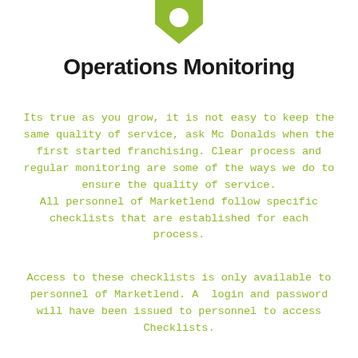[Figure (logo): Green downward-pointing arrow/chevron logo at the top center of the page]
Operations Monitoring
Its true as you grow, it is not easy to keep the same quality of service, ask Mc Donalds when the first started franchising. Clear process and regular monitoring are some of the ways we do to ensure the quality of service. All personnel of Marketlend follow specific checklists that are established for each process.
Access to these checklists is only available to personnel of Marketlend. A  login and password will have been issued to personnel to access Checklists.